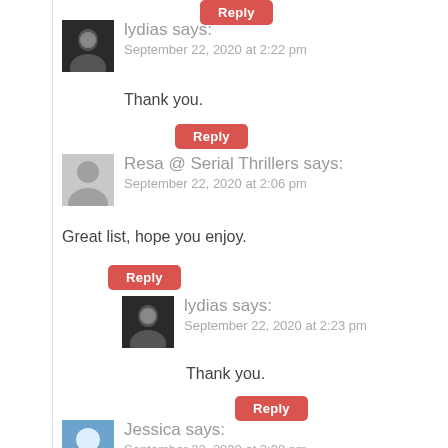Reply
lydias says:
September 22, 2020 at 2:22 pm
Thank you.
Reply
Resa @ Serial Thrillers says:
September 22, 2020 at 2:06 pm
Great list, hope you enjoy.
Reply
lydias says:
September 22, 2020 at 2:23 pm
Thank you.
Reply
Jessica says:
September 22, 2020 at 2:38 pm
This is Not a Ghost Story and Patience and